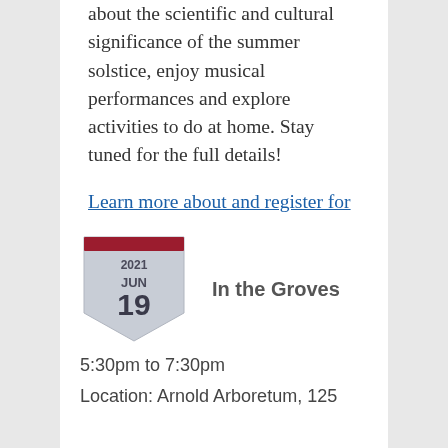about the scientific and cultural significance of the summer solstice, enjoy musical performances and explore activities to do at home. Stay tuned for the full details!
Learn more about and register for this virtual event.
[Figure (other): Calendar badge icon showing date 2021 JUN 19 in a shield shape with a dark red top bar]
In the Groves
5:30pm to 7:30pm
Location: Arnold Arboretum, 125